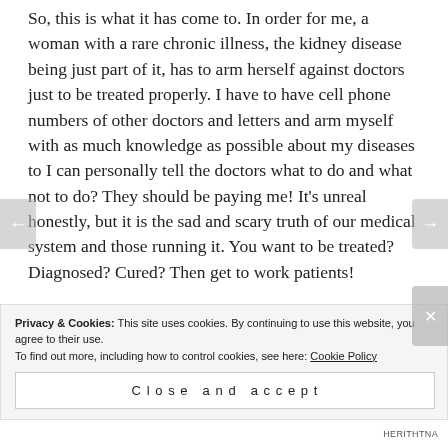So, this is what it has come to. In order for me, a woman with a rare chronic illness, the kidney disease being just part of it, has to arm herself against doctors just to be treated properly. I have to have cell phone numbers of other doctors and letters and arm myself with as much knowledge as possible about my diseases to I can personally tell the doctors what to do and what not to do? They should be paying me! It's unreal honestly, but it is the sad and scary truth of our medical system and those running it. You want to be treated? Diagnosed? Cured? Then get to work patients!
Privacy & Cookies: This site uses cookies. By continuing to use this website, you agree to their use.
To find out more, including how to control cookies, see here: Cookie Policy
Close and accept